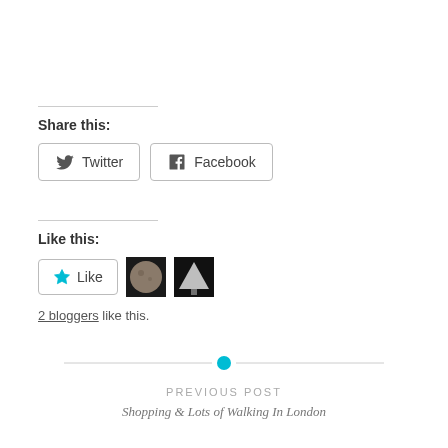Share this:
Twitter  Facebook
Like this:
Like  [avatar1] [avatar2]
2 bloggers like this.
PREVIOUS POST
Shopping & Lots of Walking In London